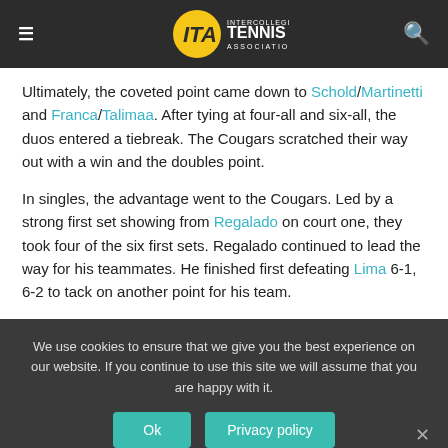ITA Intercollegiate Tennis Association
Ultimately, the coveted point came down to Schold/Martinetti and Franca/Talimaa. After tying at four-all and six-all, the duos entered a tiebreak. The Cougars scratched their way out with a win and the doubles point.
In singles, the advantage went to the Cougars. Led by a strong first set showing from Regalado on court one, they took four of the six first sets. Regalado continued to lead the way for his teammates. He finished first defeating Lima 6-1, 6-2 to tack on another point for his team.
We use cookies to ensure that we give you the best experience on our website. If you continue to use this site we will assume that you are happy with it.